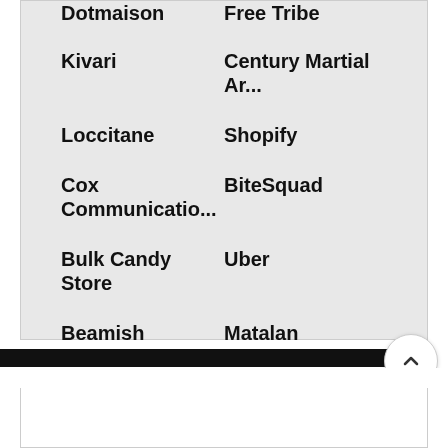Dotmaison
Free Tribe
Kivari
Century Martial Ar...
Loccitane
Shopify
Cox Communicatio...
BiteSquad
Bulk Candy Store
Uber
Beamish
Matalan
Pacific Park